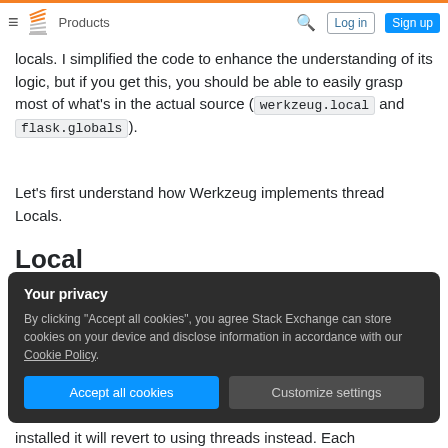≡  [Stack Overflow logo]  Products  🔍  Log in  Sign up
locals. I simplified the code to enhance the understanding of its logic, but if you get this, you should be able to easily grasp most of what's in the actual source (werkzeug.local and flask.globals).
Let's first understand how Werkzeug implements thread Locals.
Local
Your privacy
By clicking "Accept all cookies", you agree Stack Exchange can store cookies on your device and disclose information in accordance with our Cookie Policy.
[Accept all cookies] [Customize settings]
installed it will revert to using threads instead. Each